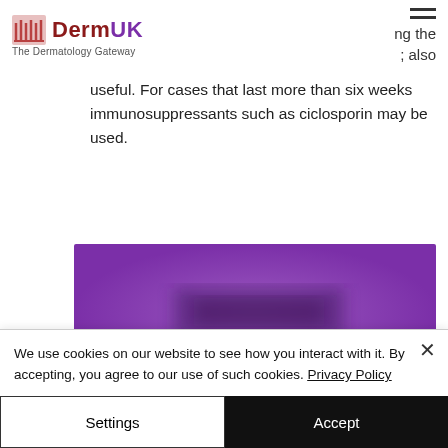DermUK The Dermatology Gateway
ng the ; also useful. For cases that last more than six weeks immunosuppressants such as ciclosporin may be used.
[Figure (photo): Blurred purple banner image, likely a redacted advertisement or image with purple background]
L...
We use cookies on our website to see how you interact with it. By accepting, you agree to our use of such cookies. Privacy Policy
Settings
Accept